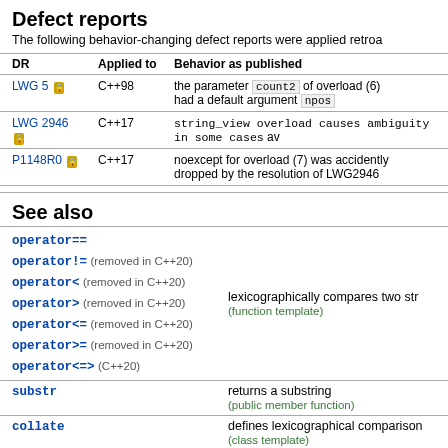Defect reports
The following behavior-changing defect reports were applied retroa
| DR | Applied to | Behavior as published |
| --- | --- | --- |
| LWG 5 | C++98 | the parameter count2 of overload (6) had a default argument npos |
| LWG 2946 | C++17 | string_view overload causes ambiguity in some cases |
| P1148R0 | C++17 | noexcept for overload (7) was accidently dropped by the resolution of LWG2946 |
See also
|  |  |
| --- | --- |
| operator==
operator!=
operator<
operator>
operator<=
operator>=
operator<=> | lexicographically compares two str
(function template) |
| substr | returns a substring
(public member function) |
| collate | defines lexicographical comparison
(class template) |
| strcoll | compares two strings in accordance
(function) |
| lexicographical_compare | returns true if one range is lexicogr
(function template) |
| compare (C++17) | compares two views |